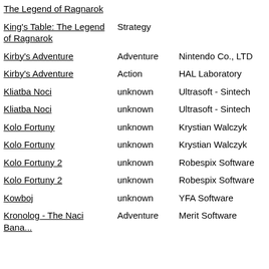| The Legend of Ragnarok |  |  |
| King's Table: The Legend of Ragnarok | Strategy |  |
| Kirby's Adventure | Adventure | Nintendo Co., LTD |
| Kirby's Adventure | Action | HAL Laboratory |
| Kliatba Noci | unknown | Ultrasoft - Sintech |
| Kliatba Noci | unknown | Ultrasoft - Sintech |
| Kolo Fortuny | unknown | Krystian Walczyk |
| Kolo Fortuny | unknown | Krystian Walczyk |
| Kolo Fortuny 2 | unknown | Robespix Software |
| Kolo Fortuny 2 | unknown | Robespix Software |
| Kowboj | unknown | YFA Software |
| Kronolog - The... | Adventure | Merit Software |